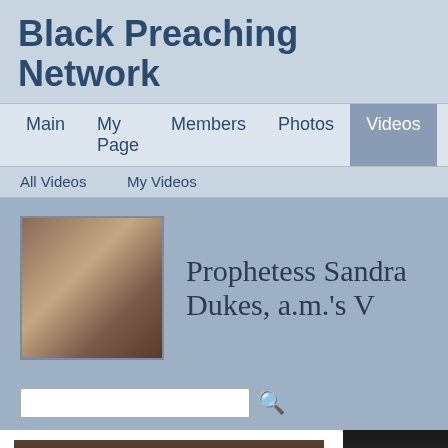Black Preaching Network
Main | My Page | Members | Photos | Videos | Forum | Gro...
All Videos | My Videos
Prophetess Sandra Dukes, a.m.'s V
2013 (new!) LISTEN UP: Bishop T.D. Jakes YE SHALL HAVE IT! http://www.remedysung.com Good God Sunday Morning Part I Excerpt King James Version: 1 Corinthians… Tags: Spirit, 03/19/13 Prophetess Sandra Dukes, a.m. 70 views Mar 10, 2013
Sheryl Brady, It's More Than You...